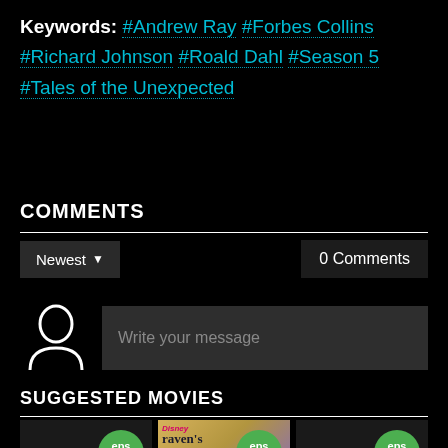Keywords: #Andrew Ray #Forbes Collins #Richard Johnson #Roald Dahl #Season 5 #Tales of the Unexpected
COMMENTS
Newest ▾   0 Comments
[Figure (illustration): User avatar icon (person silhouette) next to a message input box with placeholder text 'Write your message']
SUGGESTED MOVIES
[Figure (photo): Three movie cards partially visible at bottom. Left card: dark background with green badge 'eps 2'. Middle card: Disney Raven's Home poster with green badge 'eps 20'. Right card: dark background with green badge 'eps 7' and a scroll-up arrow button.]